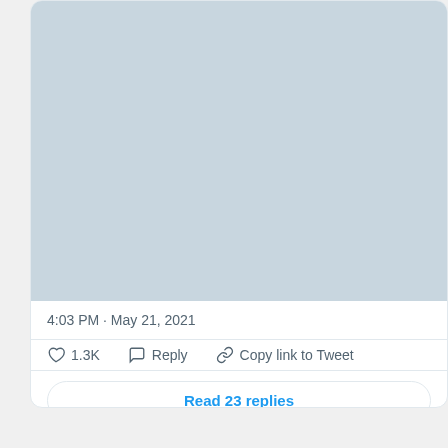[Figure (screenshot): A Twitter/X tweet card showing a cropped image placeholder (light blue-gray), timestamp, like/reply/copy link actions, and a Read 23 replies button]
4:03 PM · May 21, 2021
1.3K   Reply   Copy link to Tweet
Read 23 replies